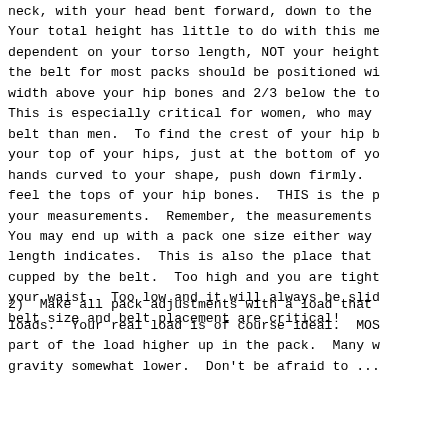neck, with your head bent forward, down to the Your total height has little to do with this me dependent on your torso length, NOT your height the belt for most packs should be positioned wi width above your hip bones and 2/3 below the to This is especially critical for women, who may belt than men.  To find the crest of your hip b your top of your hips, just at the bottom of yo hands curved to your shape, push down firmly.  feel the tops of your hip bones.  THIS is the p your measurements.  Remember, the measurements You may end up with a pack one size either way length indicates.  This is also the place that cupped by the belt.  Too high and you are tight your waist.  Too low and it will always be slid belt size and belt placement are critical!
2)  Make all pack adjustments with a load that loads.  Your real load is of course ideal.  MOS part of the load higher up in the pack.  Many w gravity somewhat lower.  Don't be afraid to ...